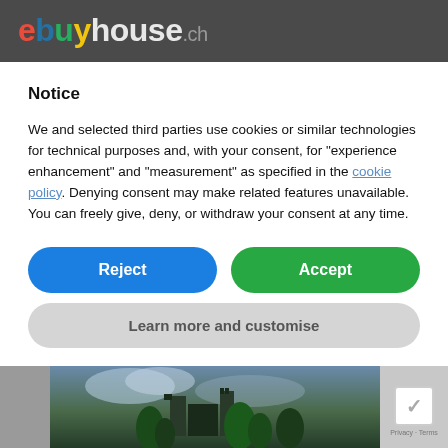[Figure (logo): ebuyhouse.ch logo in colorful letters on dark grey header background]
Notice
We and selected third parties use cookies or similar technologies for technical purposes and, with your consent, for “experience enhancement” and “measurement” as specified in the cookie policy. Denying consent may make related features unavailable.
You can freely give, deny, or withdraw your consent at any time.
Reject
Accept
Learn more and customise
[Figure (photo): Partial view of a castle or building amid trees and cloudy sky, with a reCAPTCHA badge in the lower right corner]